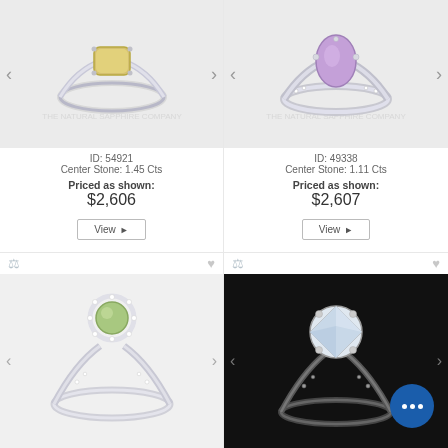[Figure (photo): Yellow cushion sapphire solitaire ring on white background, The Natural Sapphire Company watermark]
ID: 54921
Center Stone: 1.45 Cts
Priced as shown:
$2,606
View ▶
[Figure (photo): Purple/lavender oval sapphire ring with diamond pavé band on white background, The Natural Sapphire Company watermark]
ID: 49338
Center Stone: 1.11 Cts
Priced as shown:
$2,607
View ▶
[Figure (photo): Green/peridot round stone halo engagement ring with diamond pavé band on light gray background]
[Figure (photo): Round diamond solitaire ring with pavé band on black background, chat bubble overlay icon]